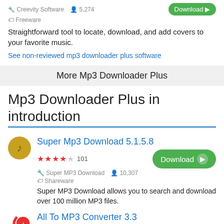Creevity Software  5,274
Freeware
Straightforward tool to locate, download, and add covers to your favorite music.
See non-reviewed mp3 downloader plus software
More Mp3 Downloader Plus
Mp3 Downloader Plus in introduction
Super Mp3 Download 5.1.5.8
★★★★☆ 101
Super MP3 Download  10,307
Shareware
Super MP3 Download allows you to search and download over 100 million MP3 files.
All To MP3 Converter 3.3